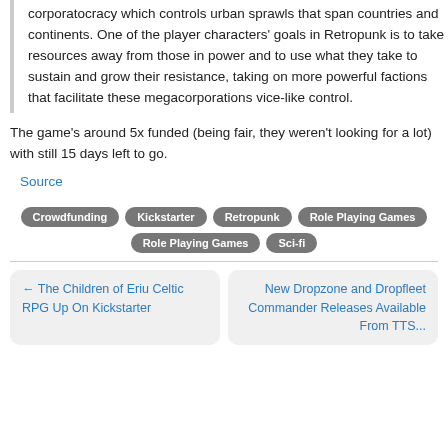corporatocracy which controls urban sprawls that span countries and continents. One of the player characters' goals in Retropunk is to take resources away from those in power and to use what they take to sustain and grow their resistance, taking on more powerful factions that facilitate these megacorporations vice-like control.
The game's around 5x funded (being fair, they weren't looking for a lot) with still 15 days left to go.
Source
Crowdfunding
Kickstarter
Retropunk
Role Playing Games
Role Playing Games
Sci-fi
← The Children of Eriu Celtic RPG Up On Kickstarter
New Dropzone and Dropfleet Commander Releases Available From TTS...